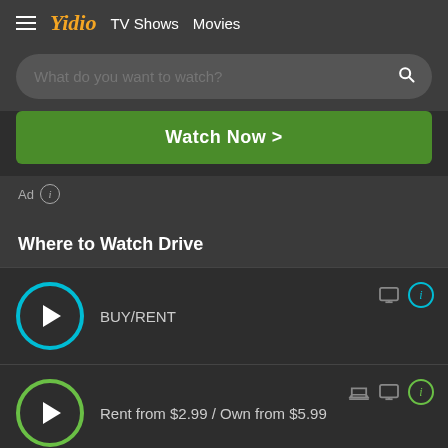≡ Yidio TV Shows Movies
What do you want to watch?
Watch Now >
Ad ⓘ
Where to Watch Drive
BUY/RENT
Rent from $2.99 / Own from $5.99